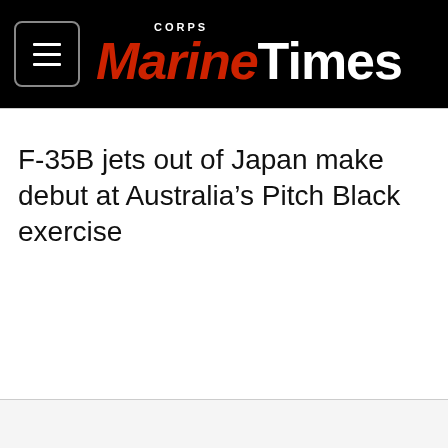Marine Corps Times
F-35B jets out of Japan make debut at Australia’s Pitch Black exercise